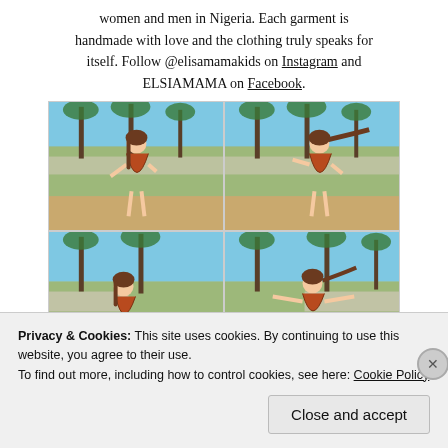women and men in Nigeria. Each garment is handmade with love and the clothing truly speaks for itself. Follow @elisamamakids on Instagram and ELSIAMAMA on Facebook.
[Figure (photo): A 2x2 grid of outdoor photos showing a young girl in an orange/brown patterned dress posing in a park setting with palm trees and dry grass in the background.]
Privacy & Cookies: This site uses cookies. By continuing to use this website, you agree to their use. To find out more, including how to control cookies, see here: Cookie Policy